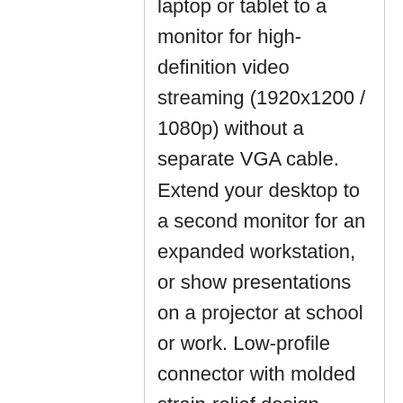laptop or tablet to a monitor for high-definition video streaming (1920x1200 / 1080p) without a separate VGA cable. Extend your desktop to a second monitor for an expanded workstation, or show presentations on a projector at school or work. Low-profile connector with molded strain-relief design increases the cable durability. Ergonomically designed easy-grip surface makes plugging and